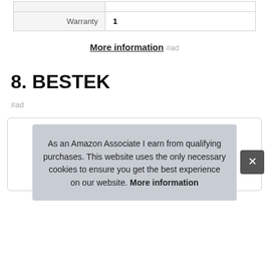| Warranty | 1 |
More information #ad
8. BESTEK
#ad
As an Amazon Associate I earn from qualifying purchases. This website uses the only necessary cookies to ensure you get the best experience on our website. More information ×